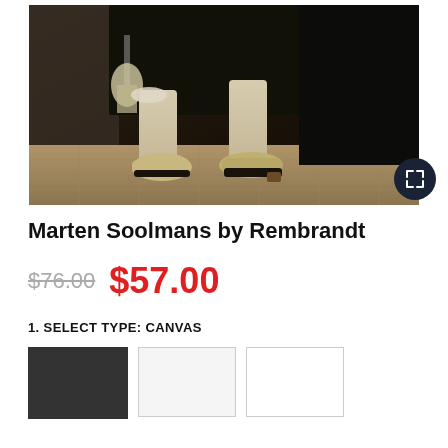[Figure (photo): Close-up of a Rembrandt painting showing the lower body and feet of a figure dressed in dark period clothing, with decorative shoes on a tiled floor. A dark expand/fullscreen button is visible in the lower right.]
Marten Soolmans by Rembrandt
$76.00  $57.00
1. SELECT TYPE: CANVAS